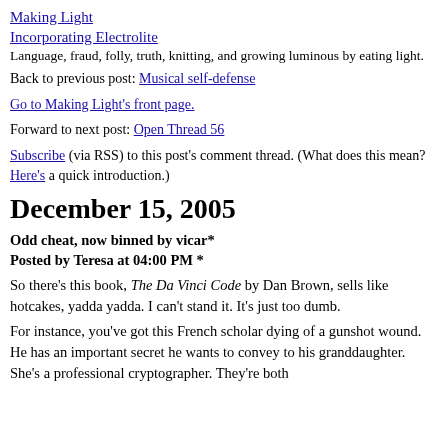Making Light
Incorporating Electrolite
Language, fraud, folly, truth, knitting, and growing luminous by eating light.
Back to previous post: Musical self-defense
Go to Making Light's front page.
Forward to next post: Open Thread 56
Subscribe (via RSS) to this post's comment thread. (What does this mean? Here's a quick introduction.)
December 15, 2005
Odd cheat, now binned by vicar*
Posted by Teresa at 04:00 PM *
So there’s this book, The Da Vinci Code by Dan Brown, sells like hotcakes, yadda yadda. I can’t stand it. It’s just too dumb.
For instance, you’ve got this French scholar dying of a gunshot wound. He has an important secret he wants to convey to his granddaughter. She’s a professional cryptographer. They’re both